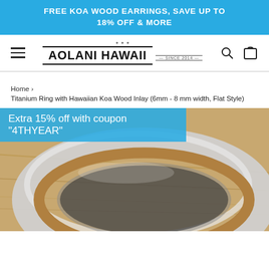FREE KOA WOOD EARRINGS, SAVE UP TO 18% OFF & MORE
[Figure (logo): Aolani Hawaii logo with decorative border and 'SINCE 2014' text]
Home › Titanium Ring with Hawaiian Koa Wood Inlay (6mm - 8 mm width, Flat Style)
[Figure (photo): Close-up photo of a titanium ring with Hawaiian Koa wood inlay on a wooden surface, with a blue coupon banner overlay reading: Extra 15% off with coupon "4THYEAR"]